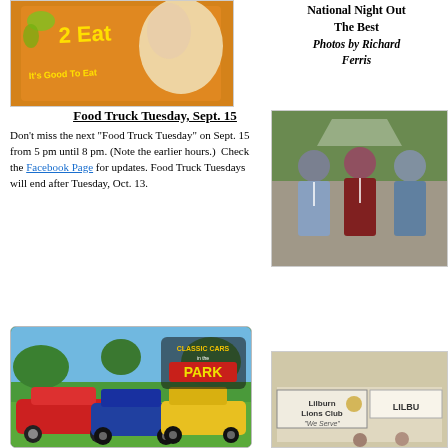[Figure (photo): Food truck with orange graphics showing '2 Eat' and 'It's good to eat' text]
National Night Out The Best
Photos by Richard Ferris
Food Truck Tuesday, Sept. 15
Don't miss the next "Food Truck Tuesday" on Sept. 15 from 5 pm until 8 pm. (Note the earlier hours.)  Check the Facebook Page for updates. Food Truck Tuesdays will end after Tuesday, Oct. 13.
[Figure (photo): Three men posing together at an outdoor event]
[Figure (photo): Classic Cars in the Park event photo with red and blue vintage cars]
[Figure (photo): Lilburn Lions Club booth with banner reading 'We Serve']